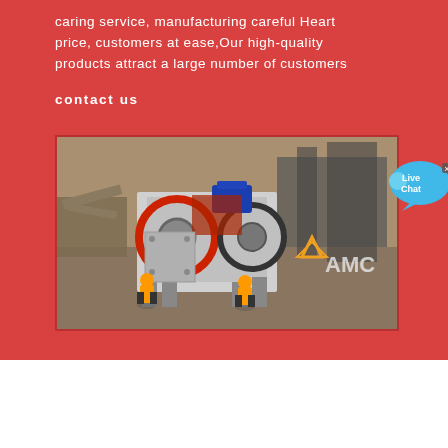caring service, manufacturing careful Heart price, customers at ease,Our high-quality products attract a large number of customers
contact us
[Figure (photo): Industrial jaw crusher machine on a construction/mining site with workers in orange safety vests and helmets. AMC logo visible on the machine.]
[Figure (infographic): Live Chat speech bubble icon in blue/cyan color with white text reading 'Live Chat']
[Figure (illustration): House/home icon in red color at bottom right corner]